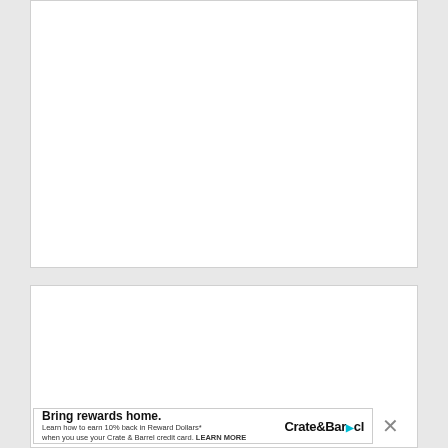[Figure (other): White blank page area (top section)]
Subscribe to DCTA via Email
[Figure (other): Advertisement: Bring rewards home. Crate & Barrel. Learn how to earn 10% back in Reward Dollars* when you use your Crate & Barrel credit card. LEARN MORE]